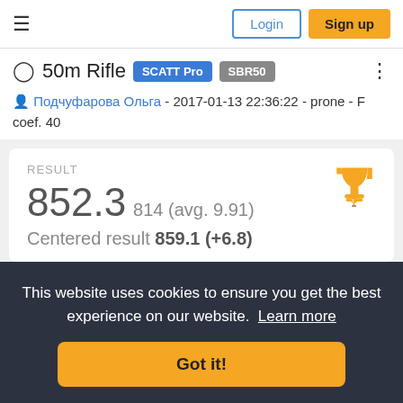≡  Login  Sign up
50m Rifle  SCATT Pro  SBR50
Подчуфарова Ольга - 2017-01-13 22:36:22 - prone - F coef. 40
RESULT
852.3  814 (avg. 9.91)
Centered result 859.1 (+6.8)
This website uses cookies to ensure you get the best experience on our website.  Learn more
Got it!
Cal. 5.6 mm